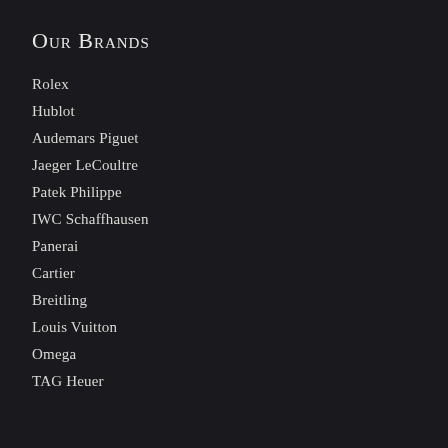Our Brands
Rolex
Hublot
Audemars Piguet
Jaeger LeCoultre
Patek Philippe
IWC Schaffhausen
Panerai
Cartier
Breitling
Louis Vuitton
Omega
TAG Heuer